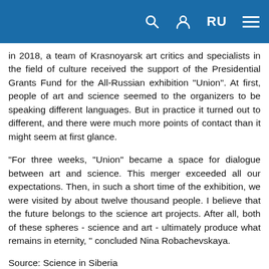RU [navigation icons]
in 2018, a team of Krasnoyarsk art critics and specialists in the field of culture received the support of the Presidential Grants Fund for the All-Russian exhibition "Union". At first, people of art and science seemed to the organizers to be speaking different languages. But in practice it turned out to different, and there were much more points of contact than it might seem at first glance.
“For three weeks, “Union” became a space for dialogue between art and science. This merger exceeded all our expectations. Then, in such a short time of the exhibition, we were visited by about twelve thousand people. I believe that the future belongs to the science art projects. After all, both of these spheres - science and art - ultimately produce what remains in eternity, ” concluded Nina Robachevskaya.
Source: Science in Siberia